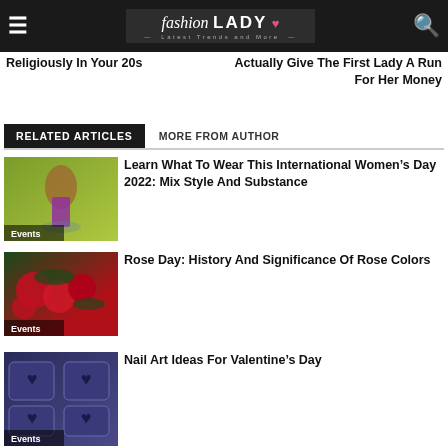fashion LADY — Latest Trends and More
Religiously In Your 20s
Actually Give The First Lady A Run For Her Money
RELATED ARTICLES   MORE FROM AUTHOR
[Figure (photo): Woman in purple dress in a field, Events label]
Learn What To Wear This International Women's Day 2022: Mix Style And Substance
[Figure (photo): Red roses, Events label]
Rose Day: History And Significance Of Rose Colors
[Figure (photo): Nail art, dark blue nails, Events label]
Nail Art Ideas For Valentine's Day